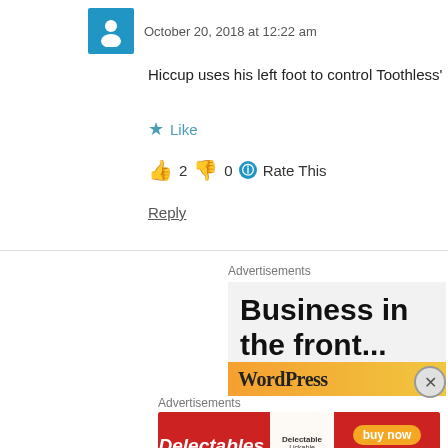October 20, 2018 at 12:22 am
Hiccup uses his left foot to control Toothless'
★ Like
👍 2 👎 0 ℹ Rate This
Reply
Advertisements
[Figure (screenshot): Advertisement showing 'Business in the front...' text with WordPress branding below]
Advertisements
[Figure (screenshot): Delectables Lickable Treat banner ad with buy now button, available at Walmart]